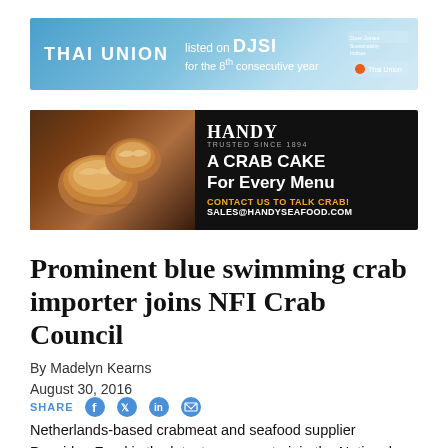[Figure (other): Thai Union advertisement banner: blue gradient background, 'THAI UNION' logo in white bold text on left, 'listed on DJSI for the 8th consecutive year' text in center, Thai Union logo on right]
[Figure (other): Handy Seafood advertisement banner: black background, crab cake food image on left, 'HANDY TRUSTED SINCE 1894 A CRAB CAKE For Every Menu CONTACT US TO TALK CRAB! SALES@HANDYSEAFOOD.COM' text on right in white and gold]
Prominent blue swimming crab importer joins NFI Crab Council
By Madelyn Kearns
August 30, 2016
SHARE
Netherlands-based crabmeat and seafood supplier Poseidon Food is the latest company to join the National Fisheries Institute's (NFI) Crab Council, joining Dutch company